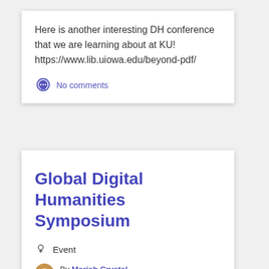Here is another interesting DH conference that we are learning about at KU! https://www.lib.uiowa.edu/beyond-pdf/
No comments
Global Digital Humanities Symposium
Event
By Mariah Crystal on September 6, 2018